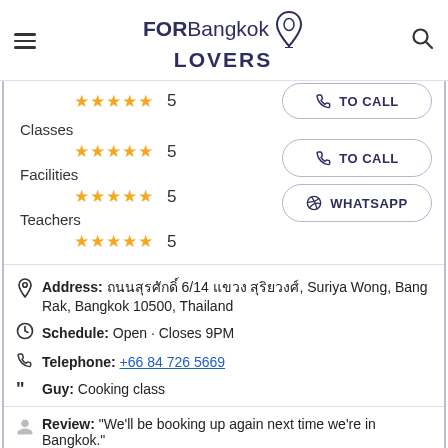FORBangkok LOVERS
Classes ★★★★★ 5
Facilities ★★★★★ 5
Teachers ★★★★★ 5
TO CALL
WHATSAPP
Address: ถนนสุรศักดิ์ 6/14 แขวง สุริยวงศ์, Suriya Wong, Bang Rak, Bangkok 10500, Thailand
Schedule: Open · Closes 9PM
Telephone: +66 84 726 5669
Guy: Cooking class
Review: "We'll be booking up again next time we're in Bangkok."